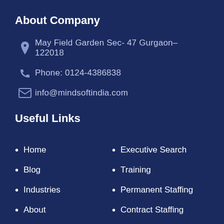About Company
May Field Garden Sec- 47 Gurgaon- 122018
Phone: 0124-4386838
info@mindsoftindia.com
Useful Links
Home
Executive Search
Blog
Training
Industries
Permanent Staffing
About
Contract Staffing